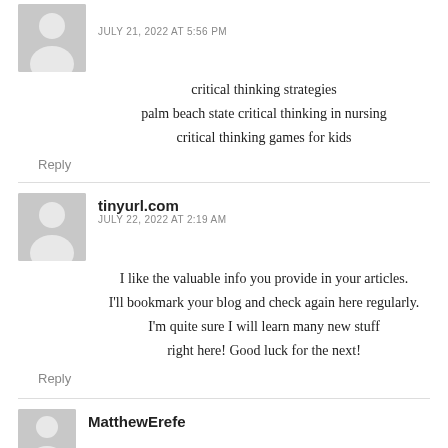JULY 21, 2022 AT 5:56 PM
critical thinking strategies
palm beach state critical thinking in nursing
critical thinking games for kids
Reply
tinyurl.com
JULY 22, 2022 AT 2:19 AM
I like the valuable info you provide in your articles. I'll bookmark your blog and check again here regularly. I'm quite sure I will learn many new stuff right here! Good luck for the next!
Reply
MatthewErefe